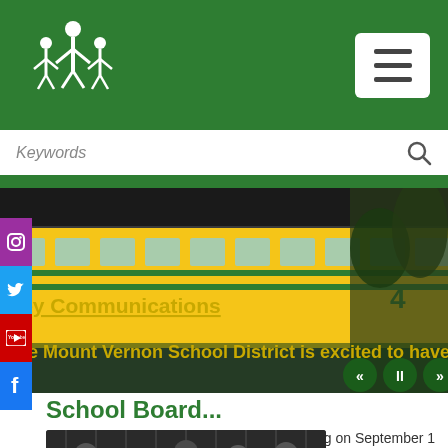[Figure (logo): Mount Vernon School District logo: white stick figures of children on green background]
[Figure (screenshot): Hamburger/menu button (three horizontal lines) on white background]
[Figure (screenshot): Search bar with Keywords placeholder text and search icon]
[Figure (photo): School bus banner slideshow showing a yellow school bus with text overlays: 'Key Communications' (underlined, gold) and 'The Mount Vernon School District is excited to have' (gold), with navigation controls (back, pause, forward) and green/dark overlay]
[Figure (other): Social media sidebar buttons: Instagram (purple), Twitter (blue), YouTube (red), Facebook (blue)]
School Board...
Join the school board for their regular meeting on September 1 at Madison Elementary or by zoom.
[Figure (photo): Group photo of school board members standing in front of a dark curtain backdrop]